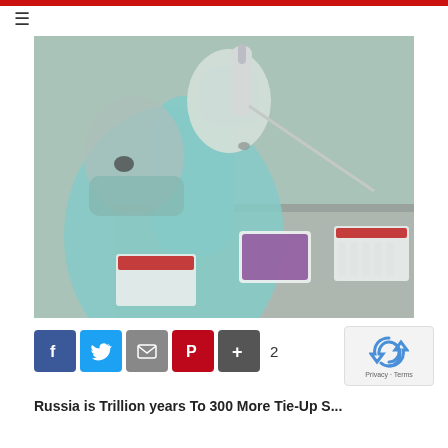[Figure (photo): Laboratory technician in full protective gear (mask, gloves, gown, hair cover) performing pipetting work inside a biosafety cabinet. Purple-tipped pipette box and white sample strip tubes visible on the metal surface.]
[Figure (infographic): Social sharing buttons: Facebook (f), Twitter (bird), Email (envelope), Pinterest (P), More (+), with count badge showing 2. reCAPTCHA widget with Privacy and Terms text.]
Russia is Trillion years To 300 More Tie-Up S...